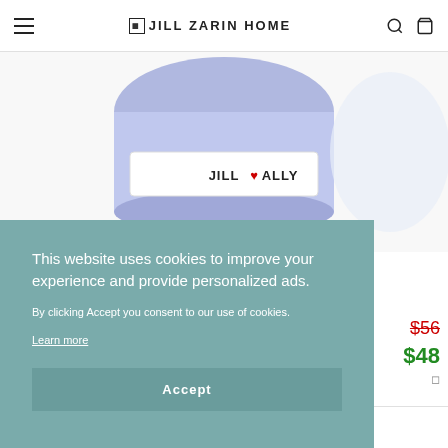JILL ZARIN HOME
[Figure (photo): Product photo of a candle/jar with 'JILL♥ALLY' label on white and blue packaging, partially cropped at top]
This website uses cookies to improve your experience and provide personalized ads.
By clicking Accept you consent to our use of cookies.
Learn more
Accept
$56 (strikethrough, red)
$48
1